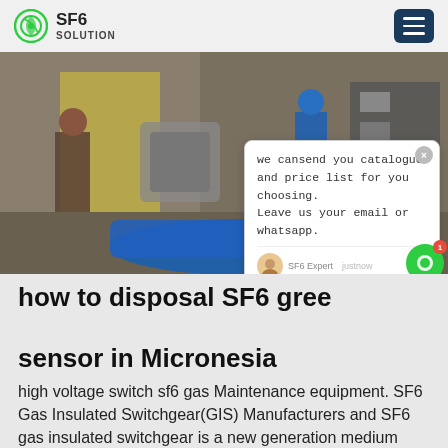SF6 SOLUTION
[Figure (photo): Industrial workers in a facility performing SF6 gas equipment maintenance, with a large blue-wrapped component on the floor and metal equipment in the background.]
how to disposal SF6 greenhouse gas sensor in Micronesia
high voltage switch sf6 gas Maintenance equipment. SF6 Gas Insulated Switchgear(GIS) Manufacturers and SF6 gas insulated switchgear is a new generation medium voltage switchgear. The entire SF6 gas tank sealed high voltage